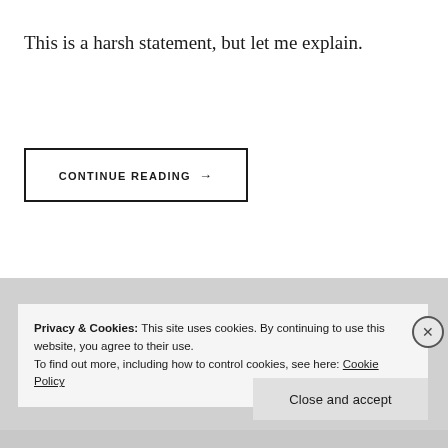This is a harsh statement, but let me explain.
CONTINUE READING →
Privacy & Cookies: This site uses cookies. By continuing to use this website, you agree to their use.
To find out more, including how to control cookies, see here: Cookie Policy
Close and accept